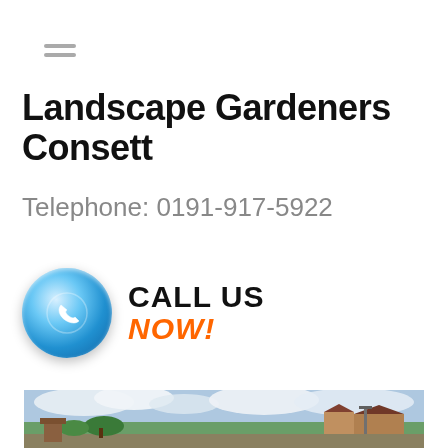[Figure (other): Hamburger menu icon with three horizontal grey lines]
Landscape Gardeners Consett
Telephone: 0191-917-5922
[Figure (infographic): Blue phone button icon with CALL US NOW! text in black and orange]
[Figure (photo): Outdoor photo of a town or residential area with green fields, houses, cloudy sky, and a street lamp]